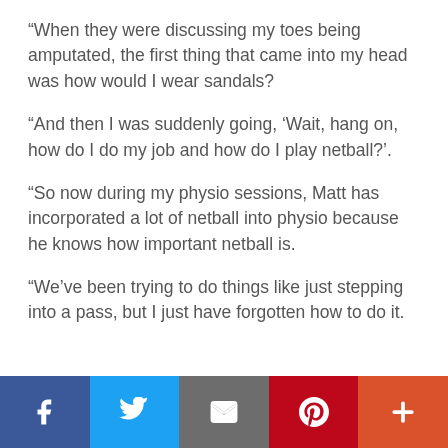“When they were discussing my toes being amputated, the first thing that came into my head was how would I wear sandals?
“And then I was suddenly going, ‘Wait, hang on, how do I do my job and how do I play netball?’.
“So now during my physio sessions, Matt has incorporated a lot of netball into physio because he knows how important netball is.
“We’ve been trying to do things like just stepping into a pass, but I just have forgotten how to do it.
[Figure (infographic): Social sharing bar with five buttons: Facebook (dark blue), Twitter (light blue), Email/envelope (grey), Pinterest (red), and a plus/more button (orange-red)]